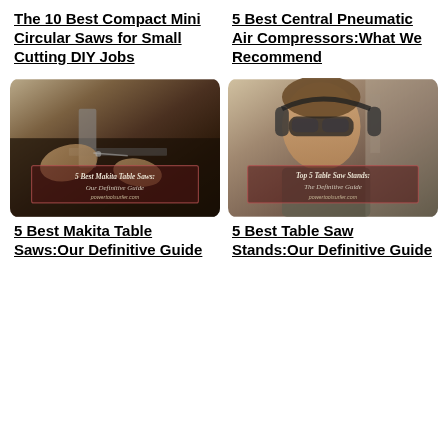The 10 Best Compact Mini Circular Saws for Small Cutting DIY Jobs
5 Best Central Pneumatic Air Compressors:What We Recommend
[Figure (photo): Photo of hands working with a table saw/cutting tool on a dark workshop surface, with overlay text reading '5 Best Makita Table Saws: Our Definitive Guide']
[Figure (photo): Photo of a man wearing safety glasses and ear protection working with a table saw in a workshop, with overlay text reading 'Top 5 Table Saw Stands: The Definitive Guide']
5 Best Makita Table Saws:Our Definitive Guide
5 Best Table Saw Stands:Our Definitive Guide